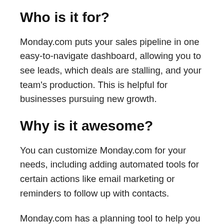Who is it for?
Monday.com puts your sales pipeline in one easy-to-navigate dashboard, allowing you to see leads, which deals are stalling, and your team's production. This is helpful for businesses pursuing new growth.
Why is it awesome?
You can customize Monday.com for your needs, including adding automated tools for certain actions like email marketing or reminders to follow up with contacts.
Monday.com has a planning tool to help you